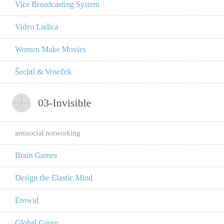Vice Broadcasting System
Video Ludica
Women Make Movies
Šechtl & Voseček
03-Invisible
antisocial notworking
Brain Games
Design the Elastic Mind
Erowid
Global Green